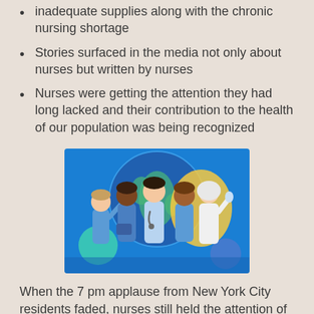inadequate supplies along with the chronic nursing shortage
Stories surfaced in the media not only about nurses but written by nurses
Nurses were getting the attention they had long lacked and their contribution to the health of our population was being recognized
[Figure (illustration): Illustration of a diverse group of five nurses/healthcare workers standing together in front of a globe on a blue background with green and yellow decorative shapes]
When the 7 pm applause from New York City residents faded, nurses still held the attention of the public into 2021. Media coverage showing